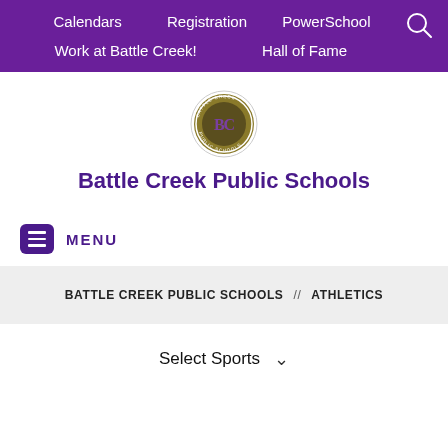Calendars   Registration   PowerSchool   Work at Battle Creek!   Hall of Fame
[Figure (logo): Battle Creek Public Schools circular logo with 'BC' initials on gold/olive background with text around the border]
Battle Creek Public Schools
≡ MENU
BATTLE CREEK PUBLIC SCHOOLS  //  ATHLETICS
Select Sports ∨